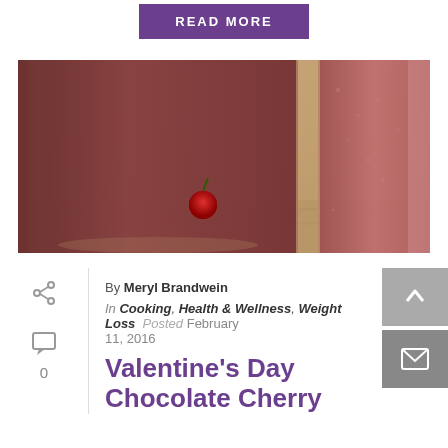READ MORE
[Figure (photo): Two tall glasses of chocolate cherry smoothie with cherries and nuts visible in the background on a wooden surface.]
By Meryl Brandwein
In Cooking, Health & Wellness, Weight Loss  Posted February 11, 2016
Valentine's Day Chocolate Cherry